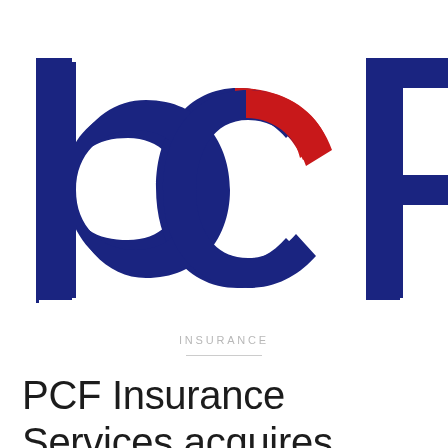[Figure (logo): PCF Insurance Services logo — stylized letters 'p', 'c', 'f' in dark navy blue with a red accent arc between the 'c' and 'f' shapes, large abstract letterform design on white background]
INSURANCE
PCF Insurance Services acquires Ohio-based Wilber-